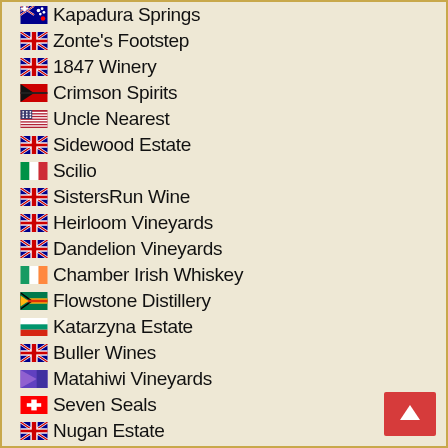Kapadura Springs
Zonte's Footstep
1847 Winery
Crimson Spirits
Uncle Nearest
Sidewood Estate
Scilio
SistersRun Wine
Heirloom Vineyards
Dandelion Vineyards
Chamber Irish Whiskey
Flowstone Distillery
Katarzyna Estate
Buller Wines
Matahiwi Vineyards
Seven Seals
Nugan Estate
Balang Brewing and Distilling
Agricola Teno
Xedequa
Vicus Orbis